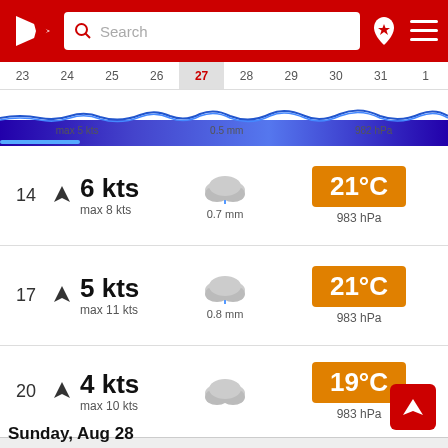[Figure (screenshot): App header with red background, logo (white triangle with arrow), search bar, location pin icon, and hamburger menu icon]
Search
23   24   25   26   27   28   29   30   31   1
max 5 kts   0.5 mm   982 hPa
14   6 kts   max 8 kts   0.7 mm   983 hPa   21°C
17   5 kts   max 11 kts   0.8 mm   983 hPa   21°C
20   4 kts   max 10 kts   983 hPa   19°C
23   3 kts   max 6 kts   984 hPa   19°C
Sunday, Aug 28